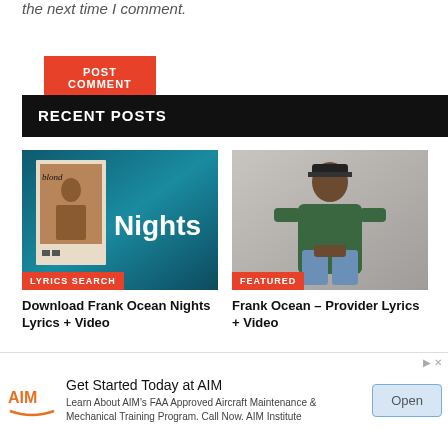the next time I comment.
POST COMMENT
RECENT POSTS
[Figure (photo): Frank Ocean Blond album cover with 'Nights' text overlay on dark teal background]
LYRICS SEARCH
Download Frank Ocean Nights Lyrics + Video
[Figure (photo): Frank Ocean wearing green hoodie and cap, seated, against gray background]
FEATURED
Frank Ocean – Provider Lyrics + Video
Get Started Today at AIM
Learn About AIM's FAA Approved Aircraft Maintenance & Mechanical Training Program. Call Now. AIM Institute